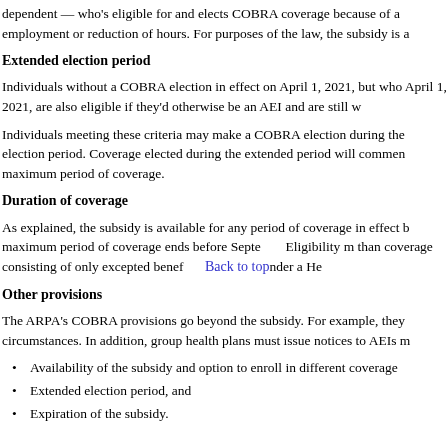dependent — who's eligible for and elects COBRA coverage because of a employment or reduction of hours. For purposes of the law, the subsidy is a
Extended election period
Individuals without a COBRA election in effect on April 1, 2021, but who April 1, 2021, are also eligible if they'd otherwise be an AEI and are still w
Individuals meeting these criteria may make a COBRA election during the election period. Coverage elected during the extended period will commen maximum period of coverage.
Duration of coverage
As explained, the subsidy is available for any period of coverage in effect b maximum period of coverage ends before Septe        Eligibility m than coverage consisting of only excepted benef        nder a He
Other provisions
The ARPA's COBRA provisions go beyond the subsidy. For example, they circumstances. In addition, group health plans must issue notices to AEIs m
Availability of the subsidy and option to enroll in different coverage
Extended election period, and
Expiration of the subsidy.